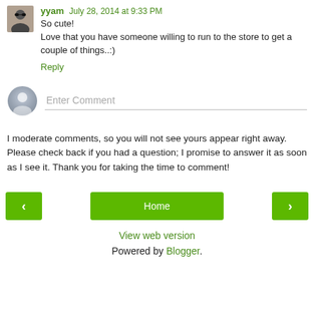yyam  July 28, 2014 at 9:33 PM
So cute!
Love that you have someone willing to run to the store to get a couple of things..:)
Reply
[Figure (other): Enter Comment input field with default avatar icon]
I moderate comments, so you will not see yours appear right away. Please check back if you had a question; I promise to answer it as soon as I see it. Thank you for taking the time to comment!
[Figure (other): Navigation bar with previous, Home, and next buttons]
View web version
Powered by Blogger.